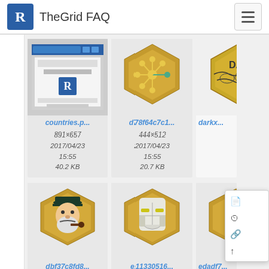TheGrid FAQ
[Figure (screenshot): File browser card: countries.p... screenshot thumbnail, 891×657, 2017/04/23 15:55, 40.2 KB]
[Figure (illustration): File browser card: d78f64c7c1... gold hexagon with network/hub icon, 444×512, 2017/04/23 15:55, 20.7 KB]
[Figure (illustration): File browser card: darkx... partially visible gold hexagon with world map, clipped by page edge]
[Figure (illustration): File browser card: dbf37c8fd8... gold hexagon with cartoon captain character, 444×512]
[Figure (illustration): File browser card: e11330516... gold hexagon with Iron Man mask, 444×512]
[Figure (illustration): File browser card: edadf7... partially visible, 444, clipped by page edge]